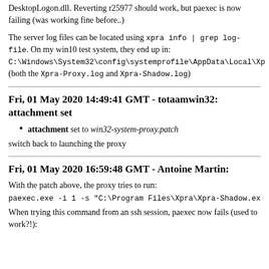DesktopLogon.dll. Reverting r25977 should work, but paexec is now failing (was working fine before..)
The server log files can be located using xpra info | grep log-file. On my win10 test system, they end up in: C:\Windows\System32\config\systemprofile\AppData\Local\Xp (both the Xpra-Proxy.log and Xpra-Shadow.log)
Fri, 01 May 2020 14:49:41 GMT - totaamwin32: attachment set
attachment set to win32-system-proxy.patch
switch back to launching the proxy
Fri, 01 May 2020 16:59:48 GMT - Antoine Martin:
With the patch above, the proxy tries to run:
paexec.exe -i 1 -s "C:\Program Files\Xpra\Xpra-Shadow.exe
When trying this command from an ssh session, paexec now fails (used to work?!):